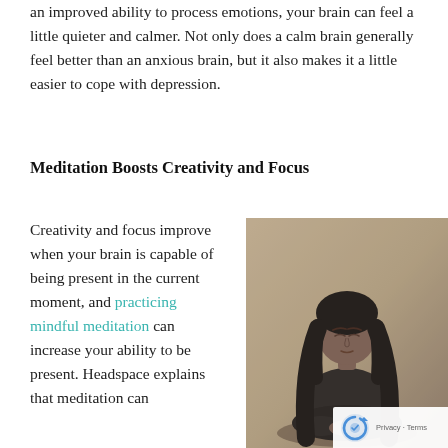an improved ability to process emotions, your brain can feel a little quieter and calmer. Not only does a calm brain generally feel better than an anxious brain, but it also makes it a little easier to cope with depression.
Meditation Boosts Creativity and Focus
Creativity and focus improve when your brain is capable of being present in the current moment, and practicing mindful meditation can increase your ability to be present. Headspace explains that meditation can
[Figure (photo): Black and white photo of a young woman with long dark hair and bangs sitting cross-legged in a meditation pose with eyes closed, wearing a black sleeveless top, hands resting in her lap, against a light background.]